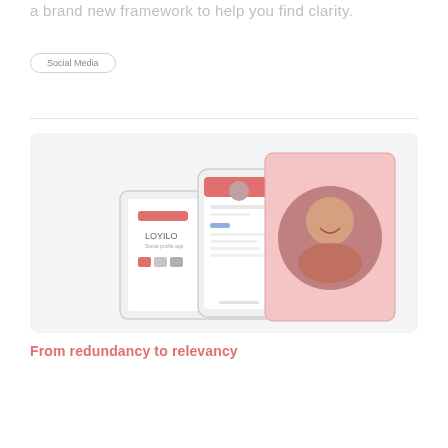a brand new framework to help you find clarity.
Social Media
[Figure (illustration): Mock-up showing a tablet, smartphone, and profile card UI with a woman's photo, displayed on a light gray background. The interfaces show a social profile app called 'LOYILO' with red accent colors.]
From redundancy to relevancy